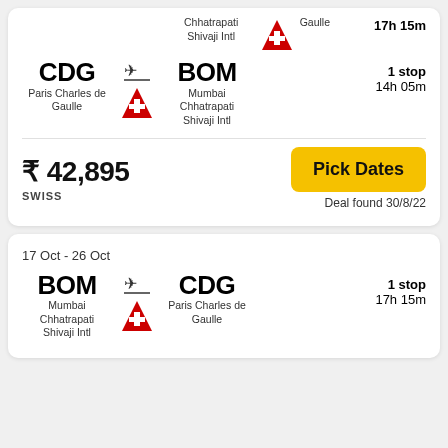CDG → BOM, Paris Charles de Gaulle to Mumbai Chhatrapati Shivaji Intl, 1 stop, 14h 05m
₹ 42,895, SWISS, Pick Dates, Deal found 30/8/22
17 Oct - 26 Oct
BOM → CDG, Mumbai Chhatrapati Shivaji Intl to Paris Charles de Gaulle, 1 stop, 17h 15m